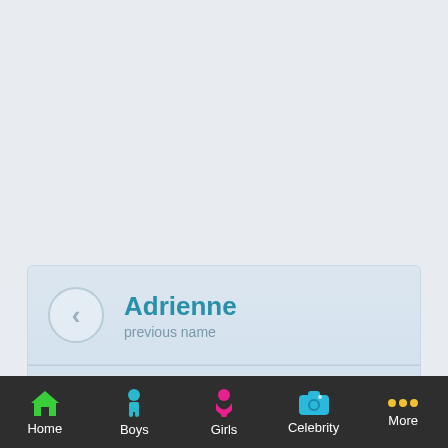[Figure (screenshot): Previous name navigation panel showing 'Adrienne' with left arrow button and label 'previous name']
[Figure (screenshot): Next name navigation panel showing 'Aidyn' with right arrow button and label 'next name']
[Figure (screenshot): Partial bottom card with circular profile photo]
[Figure (infographic): Mobile app bottom navigation bar with Home (green house icon), Boys (teal person icon), Girls (pink person icon), Celebrity (blue camera icon), More (yellow dots icon)]